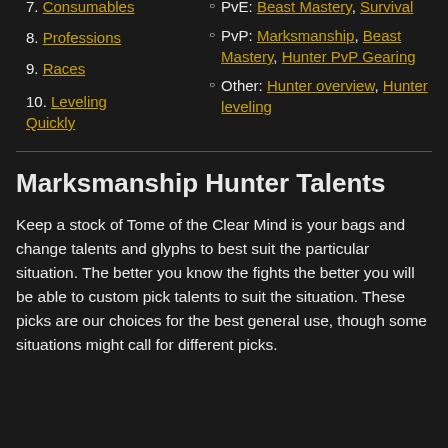7. Consumables
8. Professions
9. Races
10. Leveling Quickly
PvE: Beast Mastery, Survival
PvP: Marksmanship, Beast Mastery, Hunter PvP Gearing
Other: Hunter overview, Hunter leveling
Marksmanship Hunter Talents
Keep a stock of Tome of the Clear Mind is your bags and change talents and glyphs to best suit the particular situation. The better you know the fights the better you will be able to custom pick talents to suit the situation. These picks are our choices for the best general use, though some situations might call for different picks.